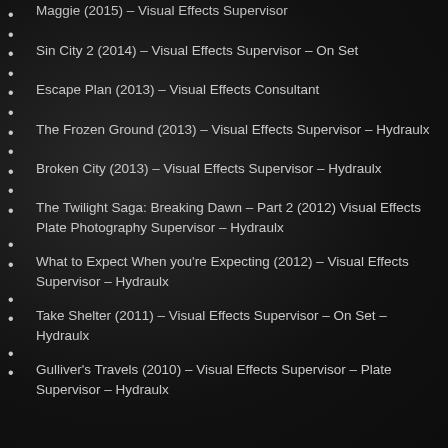Maggie (2015) – Visual Effects Supervisor
Sin City 2 (2014) – Visual Effects Supervisor – On Set
Escape Plan (2013) – Visual Effects Consultant
The Frozen Ground (2013) – Visual Effects Supervisor – Hydraulx
Broken City (2013) – Visual Effects Supervisor – Hydraulx
The Twilight Saga: Breaking Dawn – Part 2 (2012) Visual Effects Plate Photography Supervisor – Hydraulx
What to Expect When you're Expecting (2012) – Visual Effects Supervisor – Hydraulx
Take Shelter (2011) – Visual Effects Supervisor – On Set – Hydraulx
Gulliver's Travels (2010) – Visual Effects Supervisor – Plate Supervisor – Hydraulx